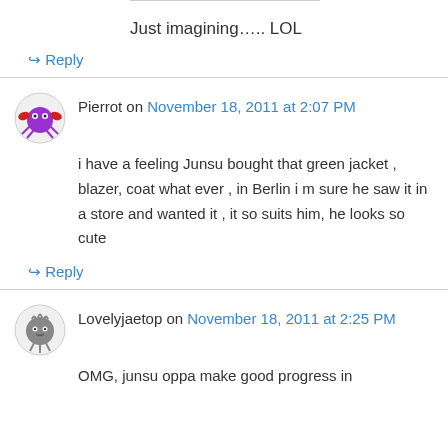Just imagining….. LOL
↪ Reply
Pierrot on November 18, 2011 at 2:07 PM
i have a feeling Junsu bought that green jacket , blazer, coat what ever , in Berlin i m sure he saw it in a store and wanted it , it so suits him, he looks so cute
↪ Reply
Lovelyjaetop on November 18, 2011 at 2:25 PM
OMG, junsu oppa make good progress in